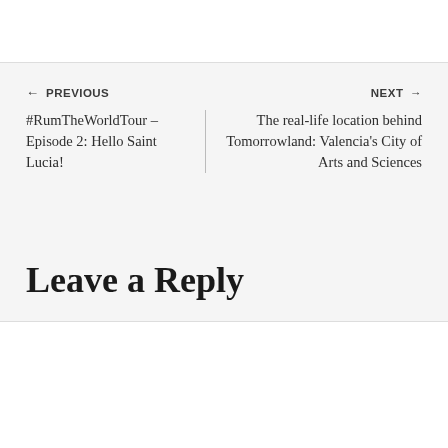← PREVIOUS
NEXT →
#RumTheWorldTour – Episode 2: Hello Saint Lucia!
The real-life location behind Tomorrowland: Valencia's City of Arts and Sciences
Leave a Reply